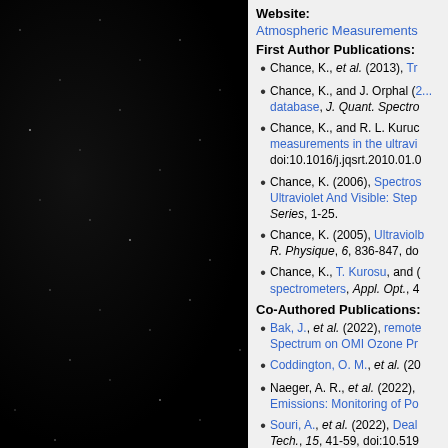[Figure (photo): Black background with scattered white/grey stars — astronomical night sky photograph]
Website:
Atmospheric Measurements
First Author Publications:
Chance, K., et al. (2013), Tr...
Chance, K., and J. Orphal (2...), database, J. Quant. Spectro...
Chance, K., and R. L. Kuruc..., measurements in the ultravi..., doi:10.1016/j.jqsrt.2010.01.0...
Chance, K. (2006), Spectros..., Ultraviolet And Visible: Step..., Series, 1-25.
Chance, K. (2005), Ultraviolb..., R. Physique, 6, 836-847, do...
Chance, K., T. Kurosu, and ..., spectrometers, Appl. Opt., 4...
Co-Authored Publications:
Bak, J., et al. (2022), remote..., Spectrum on OMI Ozone Pr...
Coddington, O. M., et al. (20...
Naeger, A. R., et al. (2022),..., Emissions: Monitoring of Po...
Souri, A., et al. (2022), Deal..., Tech., 15, 41-59, doi:10.519...
Souri, A., et al. (2022), Unra...